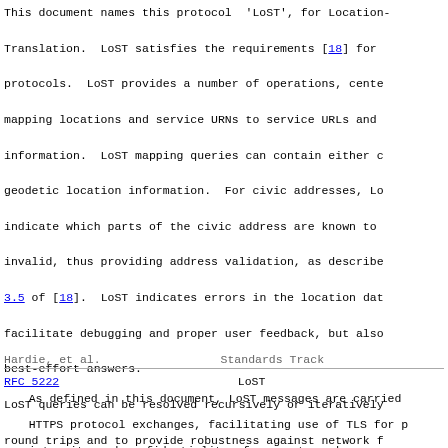This document names this protocol 'LoST', for Location-to-Service Translation. LoST satisfies the requirements [18] for protocols. LoST provides a number of operations, centered on mapping locations and service URNs to service URLs and information. LoST mapping queries can contain either civic or geodetic location information. For civic addresses, LoST can indicate which parts of the civic address are known to be invalid, thus providing address validation, as described in Section 3.5 of [18]. LoST indicates errors in the location data to facilitate debugging and proper user feedback, but also provides best-effort answers.

LoST queries can be resolved recursively or iteratively to minimize round trips and to provide robustness against network failure. LoST supports caching of individual mappings and indicates the region for which the same answer would be returned ("service region").
Hardie, et al.                    Standards Track
RFC 5222                              LoST
As defined in this document, LoST messages are carried over HTTPS protocol exchanges, facilitating use of TLS for privacy, integrity and confidentiality of requests and responses.